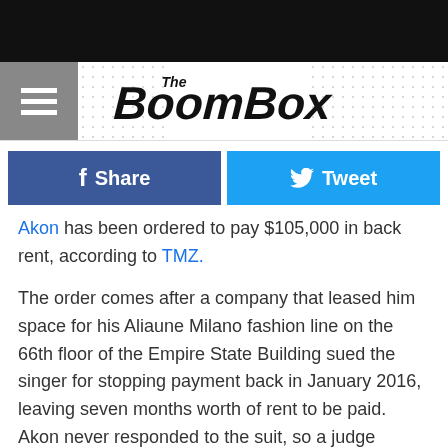[Figure (logo): The BoomBox logo with graffiti-style lettering and hamburger menu icon]
Share | Tweet (social sharing buttons)
Akon has been ordered to pay $105,000 in back rent, according to TMZ.
The order comes after a company that leased him space for his Aliaune Milano fashion line on the 66th floor of the Empire State Building sued the singer for stopping payment back in January 2016, leaving seven months worth of rent to be paid. Akon never responded to the suit, so a judge issued a default judgment.